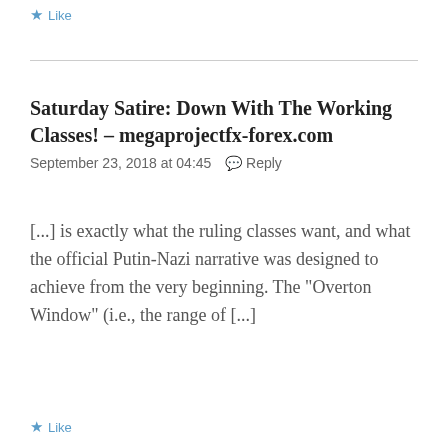Like
Saturday Satire: Down With The Working Classes! - megaprojectfx-forex.com
September 23, 2018 at 04:45  Reply
[...] is exactly what the ruling classes want, and what the official Putin-Nazi narrative was designed to achieve from the very beginning. The “Overton Window” (i.e., the range of [...]
Like